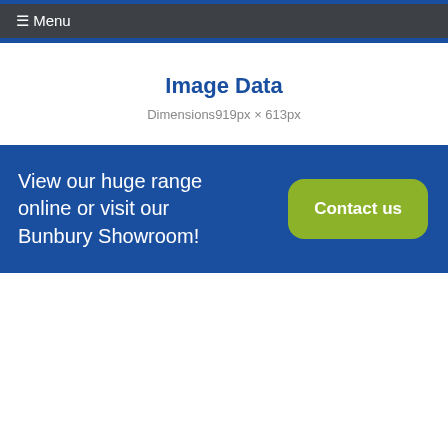☰ Menu
Image Data
Dimensions 919px × 613px
View our huge range online or visit our Bunbury Showroom!
Contact us